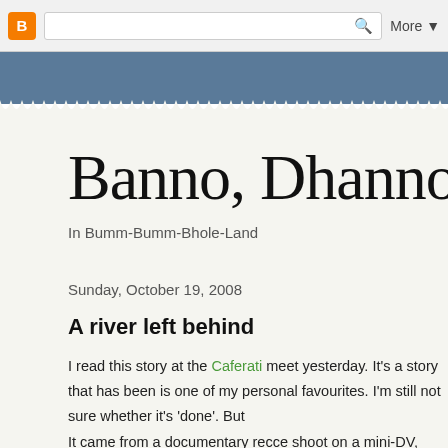[Figure (screenshot): Blogger navigation bar with orange Blogger icon, search box with magnifying glass icon, and 'More ▼' button on grey background]
[Figure (other): Blue-grey banner header of blog with scalloped/zigzag white border at bottom]
Banno, Dhanno
In Bumm-Bumm-Bhole-Land
Sunday, October 19, 2008
A river left behind
I read this story at the Caferati meet yesterday. It's a story that has been is one of my personal favourites. I'm still not sure whether it's 'done'. But
It came from a documentary recce shoot on a mini-DV, Shanker and I in t copy of that tape before I sent it off to the producer in the US. Regrets bo